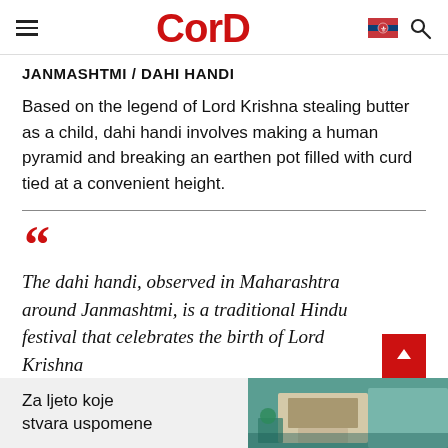CorD
JANMASHTMI / DAHI HANDI
Based on the legend of Lord Krishna stealing butter as a child, dahi handi involves making a human pyramid and breaking an earthen pot filled with curd tied at a convenient height.
The dahi handi, observed in Maharashtra around Janmashtmi, is a traditional Hindu festival that celebrates the birth of Lord Krishna
[Figure (other): Advertisement banner with text 'Za ljeto koje stvara uspomene' and a house/pool image]